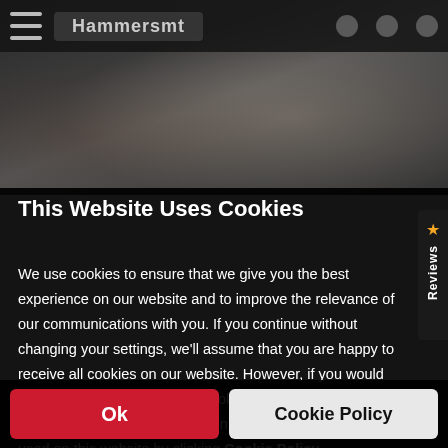[Figure (screenshot): Blurred dark background showing a website navigation bar and a gym/fitness scene with blurred figures]
This Website Uses Cookies
We use cookies to ensure that we give you the best experience on our website and to improve the relevance of our communications with you. If you continue without changing your settings, we'll assume that you are happy to receive all cookies on our website. However, if you would like to, you can change your cookie settings at any time. You can find detailed information about how cookies are used on this website by clicking Cookie Policy.